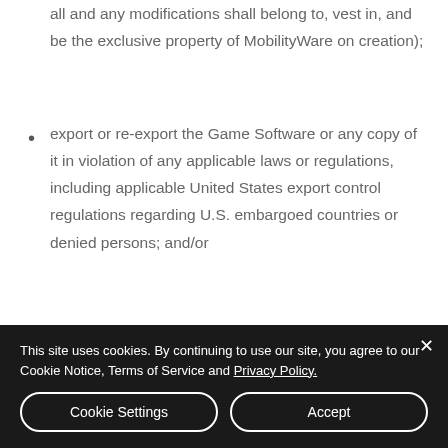all and any modifications shall belong to, vest in, and be the exclusive property of MobilityWare on creation);
export or re-export the Game Software or any copy of it in violation of any applicable laws or regulations, including applicable United States export control regulations regarding U.S. embargoed countries or denied persons; and/or
advocate, encourage, or assist
This site uses cookies. By continuing to use our site, you agree to our Cookie Notice, Terms of Service and Privacy Policy.
Cookie Settings
Accept